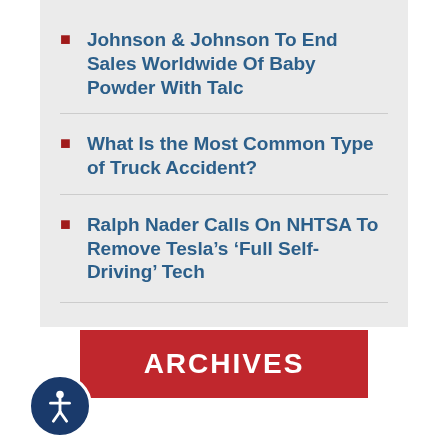Johnson & Johnson To End Sales Worldwide Of Baby Powder With Talc
What Is the Most Common Type of Truck Accident?
Ralph Nader Calls On NHTSA To Remove Tesla’s ‘Full Self-Driving’ Tech
ARCHIVES